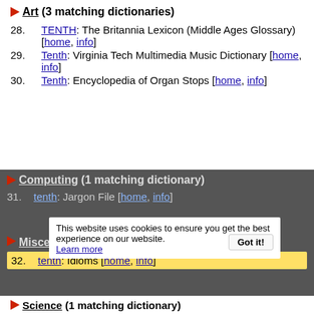Art (3 matching dictionaries)
28. TENTH: The Britannia Lexicon (Middle Ages Glossary) [home, info]
29. Tenth: Virginia Tech Multimedia Music Dictionary [home, info]
30. Tenth: Encyclopedia of Organ Stops [home, info]
Computing (1 matching dictionary)
31. tenth: Jargon File [home, info]
This website uses cookies to ensure you get the best experience on our website. Learn more Got it!
Miscellaneous (1 matching dictionary)
32. tenth: Idioms [home, info]
Science (1 matching dictionary)